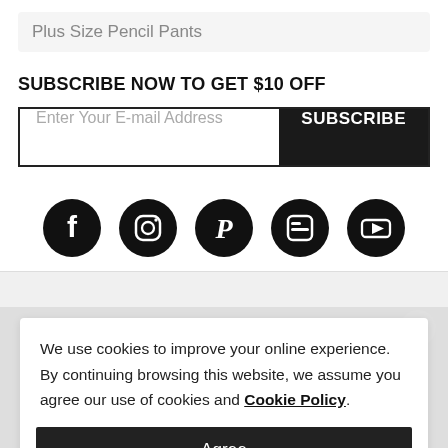Plus Size Pencil Pants
SUBSCRIBE NOW TO GET $10 OFF
Enter Your E-mail Address  SUBSCRIBE
[Figure (illustration): Five social media icons in black circles: Facebook, Instagram, Pinterest, Blogger, YouTube]
We use cookies to improve your online experience. By continuing browsing this website, we assume you agree our use of cookies and Cookie Policy.
Agree